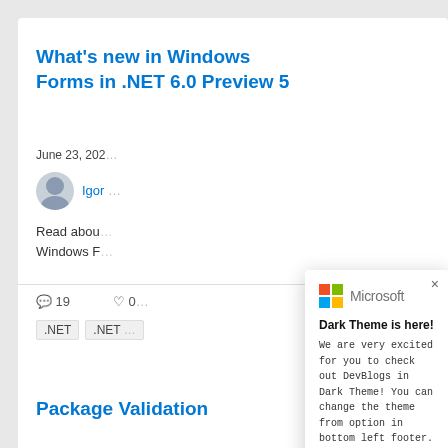What’s new in Windows Forms in .NET 6.0 Preview 5
June 23, 202…
Igor …
Read abou… Windows F…
💬 19   ♥ 0
.NET   .NET …
[Figure (screenshot): Microsoft logo with four colored squares (red, green, blue, yellow) and the word Microsoft in gray]
Dark Theme is here!
We are very excited for you to check out DevBlogs in Dark Theme! You can change the theme from option in bottom left footer.
Package Validation